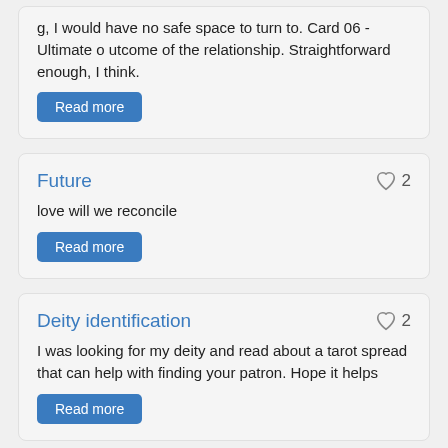g, I would have no safe space to turn to. Card 06 - Ultimate outcome of the relationship. Straightforward enough, I think.
Read more
Future
love will we reconcile
Read more
Deity identification
I was looking for my deity and read about a tarot spread that can help with finding your patron. Hope it helps
Read more
Diety
oop
Read more